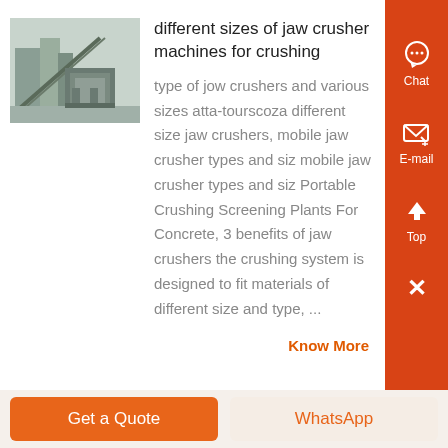[Figure (photo): Industrial jaw crusher machine at a construction or mining site, showing large machinery with conveyor belts and industrial structures in the background.]
different sizes of jaw crusher machines for crushing
type of jow crushers and various sizes atta-tourscoza different size jaw crushers, mobile jaw crusher types and siz mobile jaw crusher types and siz Portable Crushing Screening Plants For Concrete, 3 benefits of jaw crushers the crushing system is designed to fit materials of different size and type, ...
Know More
Get a Quote
WhatsApp